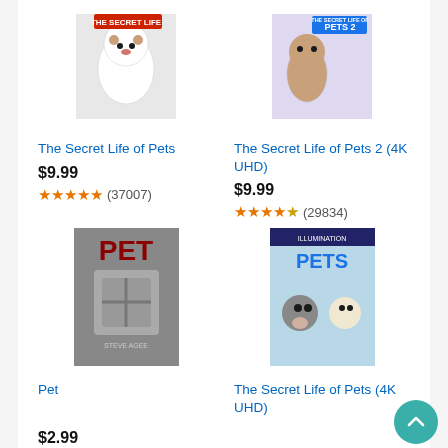[Figure (illustration): Movie poster for The Secret Life of Pets - animated dog]
[Figure (illustration): Movie poster for The Secret Life of Pets 2 (4K UHD)]
The Secret Life of Pets
$9.99
★★★★★ (37007)
The Secret Life of Pets 2 (4K UHD)
$9.99
★★★★★ (29834)
[Figure (illustration): Movie poster for Pet - dark thriller with metal cage imagery]
[Figure (illustration): Movie poster for The Secret Life of Pets (4K UHD) - animated pets]
Pet
$2.99
★★★★☆ (613)
The Secret Life of Pets (4K UHD)
$9.99
★★★★★ (37007)
Ads by Amaz